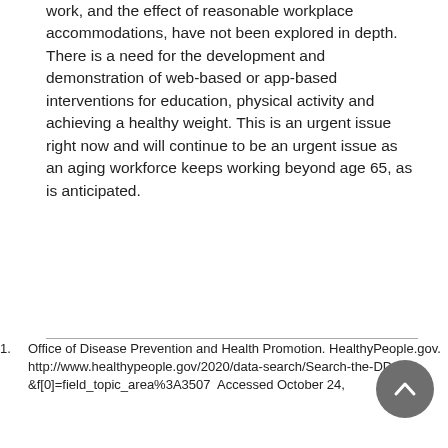work, and the effect of reasonable workplace accommodations, have not been explored in depth. There is a need for the development and demonstration of web-based or app-based interventions for education, physical activity and achieving a healthy weight. This is an urgent issue right now and will continue to be an urgent issue as an aging workforce keeps working beyond age 65, as is anticipated.
1. Office of Disease Prevention and Health Promotion. HealthyPeople.gov. http://www.healthypeople.gov/2020/data-search/Search-the-DData?&f[0]=field_topic_area%3A3507  Accessed October 24,